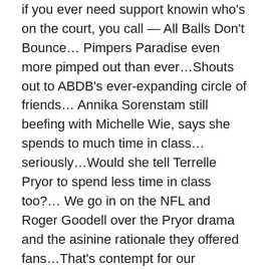if you ever need support knowin who's on the court, you call — All Balls Don't Bounce… Pimpers Paradise even more pimped out than ever…Shouts out to ABDB's ever-expanding circle of friends… Annika Sorenstam still beefing with Michelle Wie, says she spends to much time in class…seriously…Would she tell Terrelle Pryor to spend less time in class too?… We go in on the NFL and Roger Goodell over the Pryor drama and the asinine rationale they offered fans…That's contempt for our intelligence…if the P stands for Pimpers Paradise, does MC stand for Mental Capacity?… Panthers owner to Cam Newton: No tattoos for you… NFL Draft Combine scouting reports belong in the Homoerotica section of the bookstore… Hey, don't spoil my public hanging with your violence!… 49ers co-owners says shootings bolster the case for a longer regular season…Really? Really. Contempt….ESPN answers the question nobody was asking: What if Michael